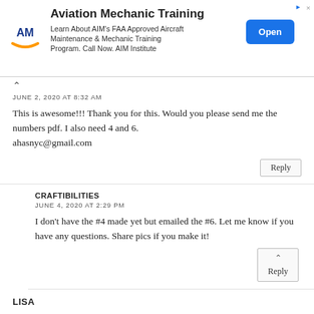[Figure (screenshot): Advertisement banner for Aviation Mechanic Training by AIM Institute with logo, text description, and Open button]
JUNE 2, 2020 AT 8:32 AM
This is awesome!!! Thank you for this. Would you please send me the numbers pdf. I also need 4 and 6.
ahasnyc@gmail.com
Reply
CRAFTIBILITIES
JUNE 4, 2020 AT 2:29 PM
I don't have the #4 made yet but emailed the #6. Let me know if you have any questions. Share pics if you make it!
Reply
LISA